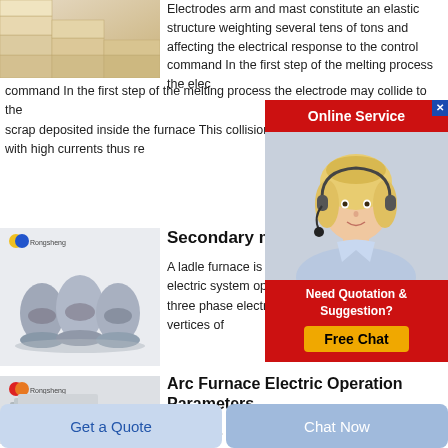[Figure (photo): Stacked beige/cream colored bricks or refractory blocks]
Electrodes arm and mast constitute an elastic structure weighting several tens of tons and affecting the electrical response to the control command In the first step of the melting process the electrode may collide to the scrap deposited inside the furnace This collision may c... with high currents thus re
[Figure (infographic): Online Service popup with red banner, female customer service representative with headset, and Free Chat button]
[Figure (photo): Three egg-shaped graphite electrode pieces on stands with Rongsheng logo]
Secondary meta
A ladle furnace is comp... electric system operatin... three phase electrical c... vertices of
[Figure (photo): Gray rectangular block or brick material with Rongsheng logo]
Arc Furnace Electric Operation Parameters
2016 4 25 Electrodes consumption reduction The
Get a Quote
Chat Now